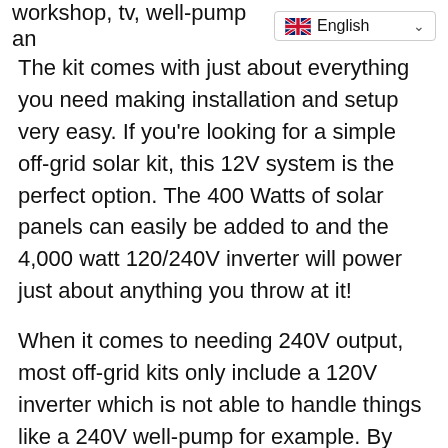workshop, tv, well-pump an
[Figure (other): English language selector dropdown with UK flag]
The kit comes with just about everything you need making installation and setup very easy. If you're looking for a simple off-grid solar kit, this 12V system is the perfect option. The 400 Watts of solar panels can easily be added to and the 4,000 watt 120/240V inverter will power just about anything you throw at it!
When it comes to needing 240V output, most off-grid kits only include a 120V inverter which is not able to handle things like a 240V well-pump for example. By going with a kit that gives you both 120V and 240V output, you'll be in a much better position when it comes time to versatility and growing or expanding your system in the future! This is one of the only small off grid solar kits that CAN handle 240V output to run things like a well